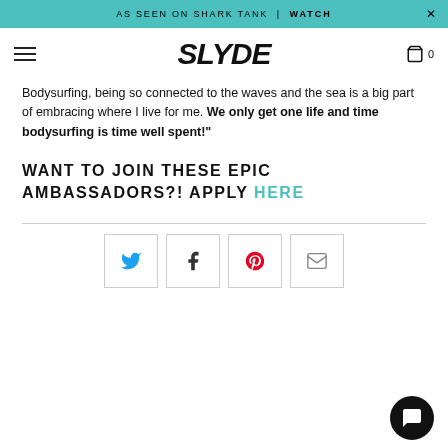AS SEEN ON SHARK TANK | WATCH
[Figure (logo): SLYDE brand logo in bold italic text]
Bodysurfing, being so connected to the waves and the sea is a big part of embracing where I live for me. We only get one life and time bodysurfing is time well spent!"
WANT TO JOIN THESE EPIC AMBASSADORS?! APPLY HERE
[Figure (infographic): Social share buttons row: Twitter, Facebook, Pinterest, Email]